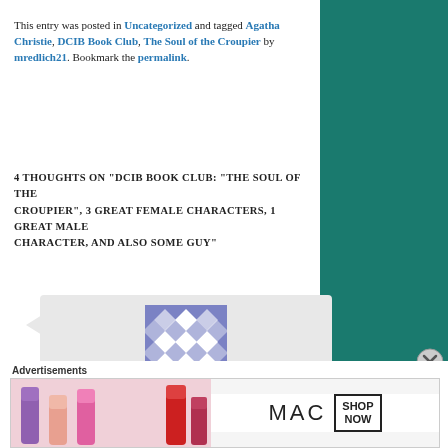This entry was posted in Uncategorized and tagged Agatha Christie, DCIB Book Club, The Soul of the Croupier by mredlich21. Bookmark the permalink.
4 THOUGHTS ON “DCIB BOOK CLUB: “THE SOUL OF THE CROUPIER”, 3 GREAT FEMALE CHARACTERS, 1 GREAT MALE CHARACTER, AND ALSO SOME GUY”
[Figure (illustration): User avatar for eva-e: blue and white geometric diamond pattern tile]
eva-e on April 25, 2021 at 2:45 pm said:
Do croupiers actually have
Advertisements
[Figure (photo): MAC cosmetics advertisement showing lipsticks with SHOP NOW button]